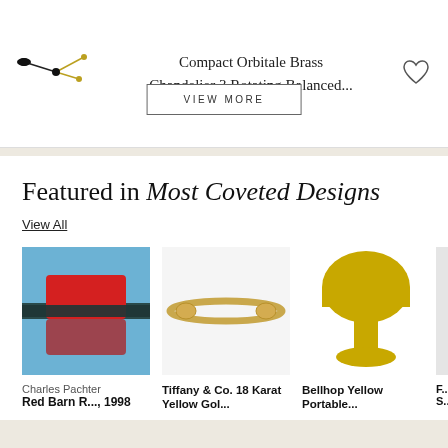Compact Orbitale Brass Chandelier 3 Rotating Balanced...
VIEW MORE
Featured in Most Coveted Designs
View All
[Figure (photo): Charles Pachter painting Red Barn R..., 1998 - red geometric shape on blue background]
Charles Pachter
Red Barn R..., 1998
[Figure (photo): Tiffany & Co. 18 Karat Yellow Gold ring]
Tiffany & Co. 18 Karat Yellow Gol...
[Figure (photo): Bellhop Yellow Portable lamp - mushroom shaped yellow table lamp]
Bellhop Yellow Portable...